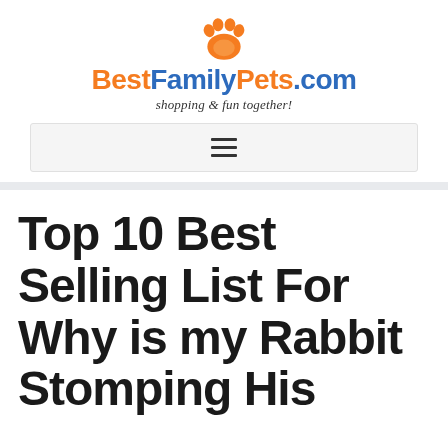[Figure (logo): BestFamilyPets.com logo with orange paw print icon above text. 'Best' in orange bold, 'Family' in blue bold, 'Pets.com' alternating orange/blue. Tagline beneath: 'shopping & fun together!' in italic serif.]
Top 10 Best Selling List For Why is my Rabbit Stomping His